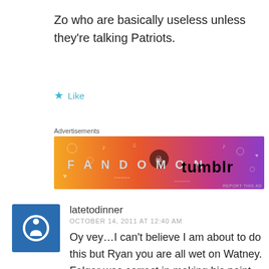Zo who are basically useless unless they're talking Patriots.
Like
Advertisements
[Figure (illustration): Fandom on Tumblr banner advertisement with orange to purple gradient and doodle artwork]
latetodinner
OCTOBER 14, 2011 AT 12:40 AM
Oy vey…I can't believe I am about to do this but Ryan you are all wet on Watney. Felger was correct in making his point… which was…Sox ownership believes off